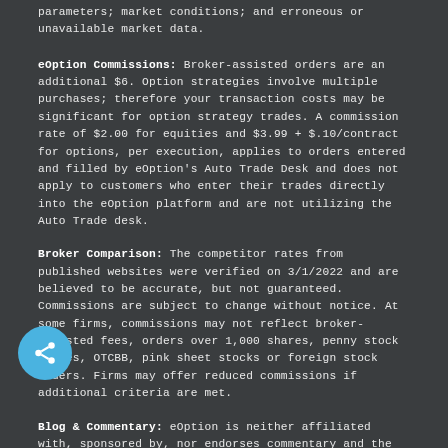parameters; market conditions; and erroneous or unavailable market data.
eOption Commissions: Broker-assisted orders are an additional $6. Option strategies involve multiple purchases; therefore your transaction costs may be significant for option strategy trades. A commission rate of $2.00 for equities and $3.99 + $.10/contract for options, per execution, applies to orders entered and filled by eOption's Auto Trade Desk and does not apply to customers who enter their trades directly into the eOption platform and are not utilizing the Auto Trade desk.
Broker Comparison: The competitor rates from published websites were verified on 3/1/2022 and are believed to be accurate, but not guaranteed. Commissions are subject to change without notice. At some firms, commissions may not reflect broker-assisted fees, orders over 1,000 shares, penny stock trades, OTCBB, pink sheet stocks or foreign stock orders. Firms may offer reduced commissions if additional criteria are met.
Blog & Commentary: eOption is neither affiliated with, sponsored by, nor endorses commentary and the opinions expressed are solely their own. Content is provided for educational and informational purposes only and eOption cannot attest to its accuracy or completeness. No information provided has been endorsed by eOption.com and does not constitute a recommendation by eOption to buy or sell a particular investment. You are solely responsible for